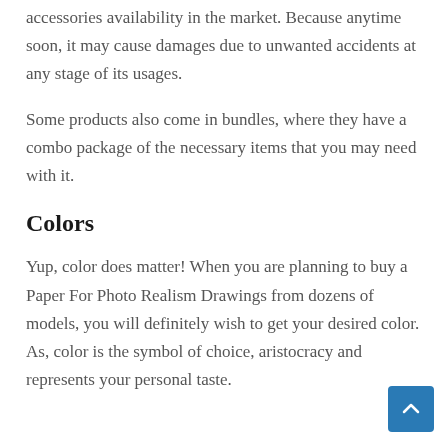accessories availability in the market. Because anytime soon, it may cause damages due to unwanted accidents at any stage of its usages.
Some products also come in bundles, where they have a combo package of the necessary items that you may need with it.
Colors
Yup, color does matter! When you are planning to buy a Paper For Photo Realism Drawings from dozens of models, you will definitely wish to get your desired color. As, color is the symbol of choice, aristocracy and represents your personal taste.